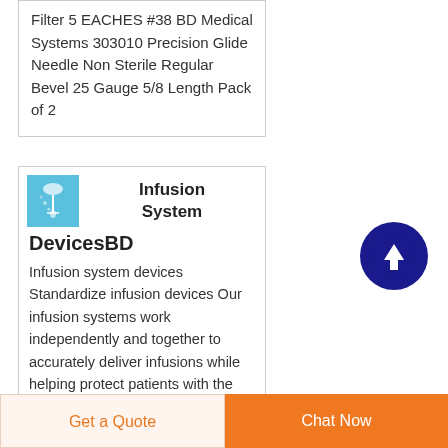Filter 5 EACHES #38 BD Medical Systems 303010 Precision Glide Needle Non Sterile Regular Bevel 25 Gauge 5/8 Length Pack of 2
[Figure (illustration): Blue square icon showing an infusion/IV drip illustration]
Infusion System DevicesBD
Infusion system devices Standardize infusion devices Our infusion systems work independently and together to accurately deliver infusions while helping protect patients with the Guardrails suite MX
[Figure (illustration): Dark navy blue circular button with white upward-pointing arrow]
Get a Quote
Chat Now